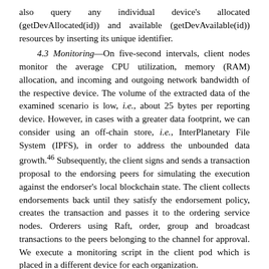also query any individual device's allocated (getDevAllocated(id)) and available (getDevAvailable(id)) resources by inserting its unique identifier.
4.3 Monitoring—On five-second intervals, client nodes monitor the average CPU utilization, memory (RAM) allocation, and incoming and outgoing network bandwidth of the respective device. The volume of the extracted data of the examined scenario is low, i.e., about 25 bytes per reporting device. However, in cases with a greater data footprint, we can consider using an off-chain store, i.e., InterPlanetary File System (IPFS), in order to address the unbounded data growth.⁴⁶ Subsequently, the client signs and sends a transaction proposal to the endorsing peers for simulating the execution against the endorser's local blockchain state. The client collects endorsements back until they satisfy the endorsement policy, creates the transaction and passes it to the ordering service nodes. Orderers using Raft, order, group and broadcast transactions to the peers belonging to the channel for approval. We execute a monitoring script in the client pod which is placed in a different device for each organization.
The simple algorithm of this script is described in Algorithm 1. We get CPU, memory and network bandwidth utilization. For CPU and memory we calculate the average between the measured values of the current and the previous iteration. Regarding the network bandwidth, since the value retrieved is accumulated, we calculate the difference between the previous and the current measurement